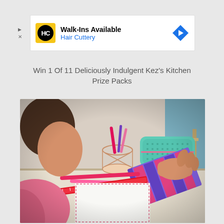[Figure (screenshot): Hair Cuttery advertisement banner with logo, 'Walk-Ins Available' text, and navigation arrow icon]
Win 1 Of 11 Deliciously Indulgent Kez's Kitchen Prize Packs
[Figure (photo): Child sitting at a table with school supplies including a pencil holder, pencil case, notebook, ruler, and pens]